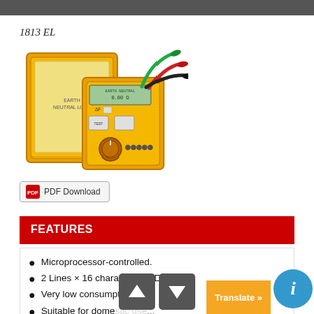1813 EL
[Figure (photo): Yellow hard case earth loop tester (1813 EL) shown open with test leads (red, green, black) and the handheld digital device with LCD display and rotary selector.]
PDF Download
FEATURES
Microprocessor-controlled.
2 Lines × 16 characters LCD.
Very low consumption.
Suitable for domestic use.
Better than 3% accuracy (current).